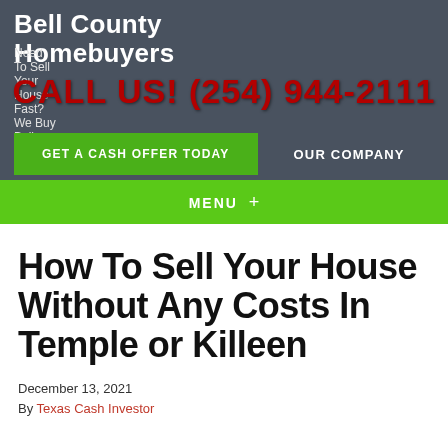Bell County Homebuyers
Need To Sell Your House Fast? We Buy Bell County Houses!
CALL US! (254) 944-2111
GET A CASH OFFER TODAY
OUR COMPANY
MENU +
How To Sell Your House Without Any Costs In Temple or Killeen
December 13, 2021
By Texas Cash Investor